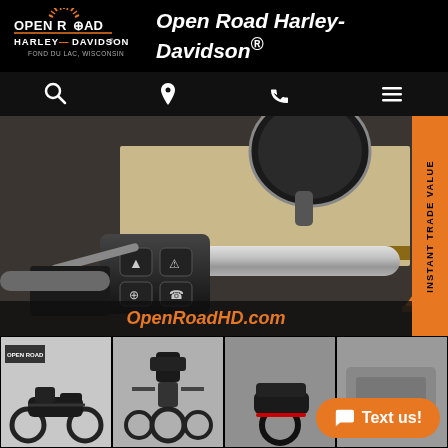[Figure (logo): Open Road Harley-Davidson logo with sunburst and bar & shield, Fond du Lac Wisconsin]
Open Road Harley-Davidson®
[Figure (infographic): Navigation icons row: search magnifier, location pin, phone handset, hamburger menu]
[Figure (photo): Close-up photo of Harley-Davidson motorcycle handlebar controls with chrome grip, control buttons, and rearview mirror in dealership showroom]
OpenRoadHD.com
[Figure (photo): Four thumbnail photos of Harley-Davidson motorcycles in dealership showroom]
Text us!